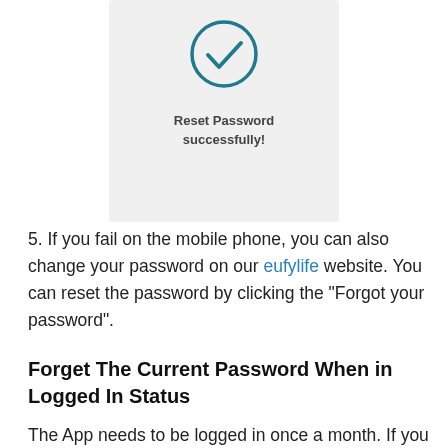[Figure (screenshot): Mobile app screenshot showing a success screen with a teal checkmark circle and the text 'Reset Password successfully!']
5. If you fail on the mobile phone, you can also change your password on our eufylife website. You can reset the password by clicking the "Forgot your password".
Forget The Current Password When in Logged In Status
The App needs to be logged in once a month. If you